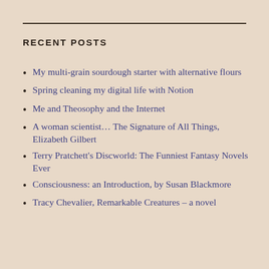RECENT POSTS
My multi-grain sourdough starter with alternative flours
Spring cleaning my digital life with Notion
Me and Theosophy and the Internet
A woman scientist… The Signature of All Things, Elizabeth Gilbert
Terry Pratchett's Discworld: The Funniest Fantasy Novels Ever
Consciousness: an Introduction, by Susan Blackmore
Tracy Chevalier, Remarkable Creatures – a novel